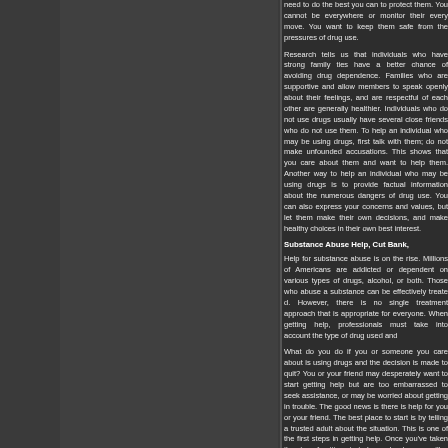need to do the best you can to protect them. You cannot be everywhere or monitor their every move. You want to keep them safe from the pressures of drug use.
Research tells us that individuals who have strong family ties have a better chance of avoiding drug dependence. Families who are supportive and allow members to speak openly about their feelings, and are respectful of each other are generally healthier. Individuals who do not use drugs usually have several close friends who do not use them. To help an individual who may be using drugs, first talk with them; do not make unfounded accusations. This shows that you care about them and want to help them. Another way to help an individual who may be using drugs is to provide factual information about the numerous dangers of drug use. You can also express your concerns and values, but let them make their own decisions, and make healthy choices in their own best interest.
Substance Abuse Help, Cut Bank,
Help for substance abuse is on the rise. Millions of Americans are addicted or dependent on various types of drugs, alcohol, or both. Those who abuse a substance can be effectively treated. However, there is no single treatment approach that is appropriate for everyone. When getting help, professionals must take into account the type of drug used and
What do you do if you or someone you care about is using drugs and the decision is made to quit? You or your friend may desperately want to start getting help but are too embarrassed to seek assistance, or may be worried about getting in trouble. The good news is there is help for you or your friend. The best place to start is by telling a trusted adult about the situation. This is one of the first steps in getting help. Once you've taken the step of getting started, people who care will
Help For Drug Abuse, Cut Bank,
Getting help for drug abuse may be one of the most important things you can do for or for someone you care about. The disease of addiction affects every area of a person's life. Their drug abuse often involves a complex collection of psychological, social, and dysfunctional behaviors that can impact the individual's family, school or workplace, and the broader community. Witho